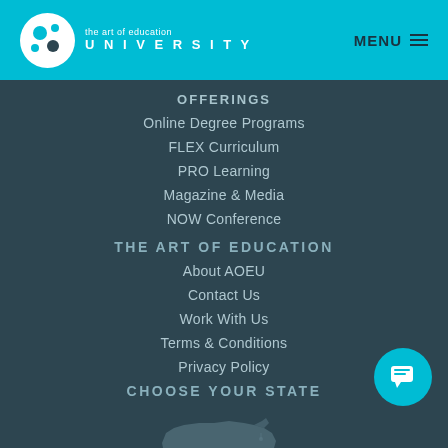[Figure (logo): The Art of Education University logo with teal circular icon and text]
OFFERINGS
Online Degree Programs
FLEX Curriculum
PRO Learning
Magazine & Media
NOW Conference
THE ART OF EDUCATION
About AOEU
Contact Us
Work With Us
Terms & Conditions
Privacy Policy
CHOOSE YOUR STATE
[Figure (map): Outline map of the United States in light gray]